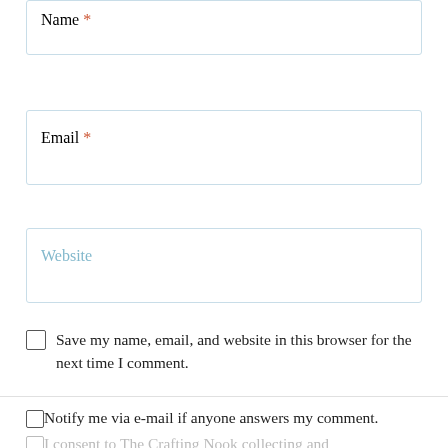Name *
Email *
Website
Save my name, email, and website in this browser for the next time I comment.
Notify me via e-mail if anyone answers my comment.
I consent to The Crafting Nook collecting and